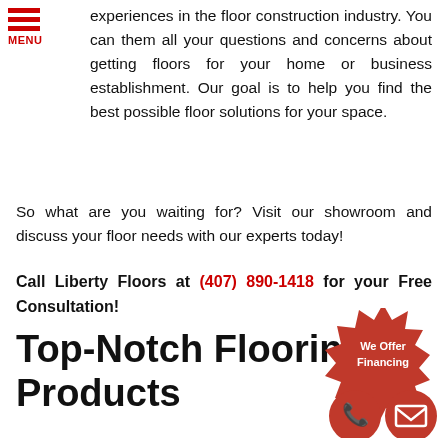[Figure (logo): Red hamburger menu icon with three horizontal bars and MENU text label below in red]
experiences in the floor construction industry. You can them all your questions and concerns about getting floors for your home or business establishment. Our goal is to help you find the best possible floor solutions for your space.
So what are you waiting for? Visit our showroom and discuss your floor needs with our experts today!
Call Liberty Floors at (407) 890-1418 for your Free Consultation!
Top-Notch Flooring Products
[Figure (infographic): Red starburst badge with white text 'We Offer Financing' and two red circular icons below showing a phone handset and an envelope symbol]